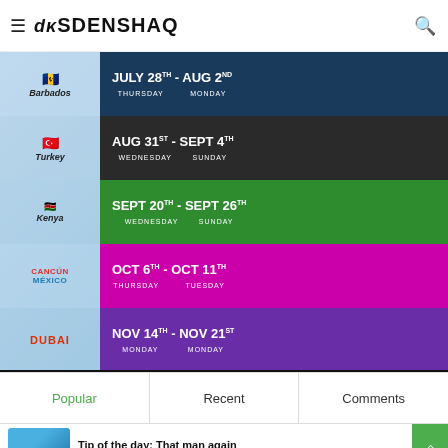≡ DKSDENSHAQ 🔍
[Figure (infographic): Travel schedule banner showing destinations and dates: Barbados JULY 28th-AUG 2nd Thursday-Monday; Turkey AUG 31st-SEPT 4th Wednesday-Sunday; Kenya SEPT 20th-SEPT 26th Wednesday-Sunday; Cancun Mexico OCT 6th-OCT 11th Thursday-Tuesday; Dubai NOV 14th-NOV 21st Monday-Monday]
Popular | Recent | Comments
Tip of the day: That man again
April 27, 2022